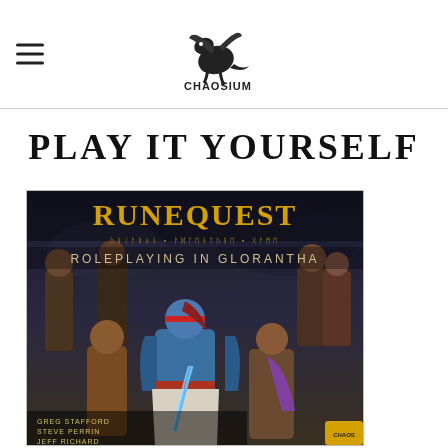Chaosium Inc. logo and navigation
PLAY IT YOURSELF
[Figure (illustration): Book cover of RuneQuest: Roleplaying in Glorantha by Greg Stafford, Steve Perrin, Jeff Richard, Jason Durall. Shows fantasy warriors and characters on a dark mystical background with gold title text.]